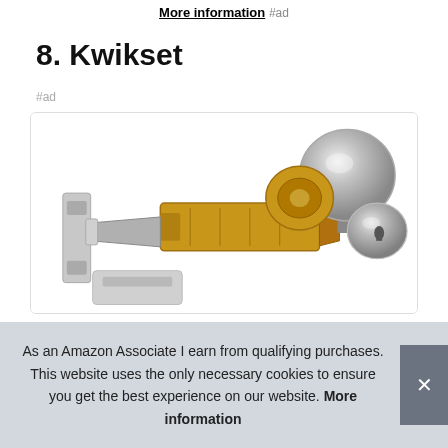More information #ad
8. Kwikset
#ad
[Figure (photo): Disassembled Kwikset door lock set showing knob, latch mechanism, strike plate, and lock cylinder components on white background]
As an Amazon Associate I earn from qualifying purchases. This website uses the only necessary cookies to ensure you get the best experience on our website. More information